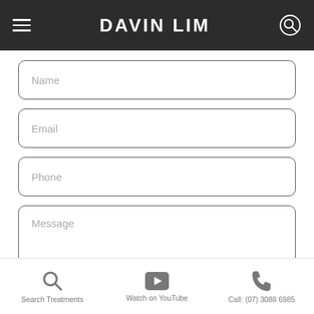DAVIN LIM
[Figure (screenshot): Contact form with fields: Name, Email, Phone, Message]
Search Treatments   Watch on YouTube   Call: (07) 3088 6985